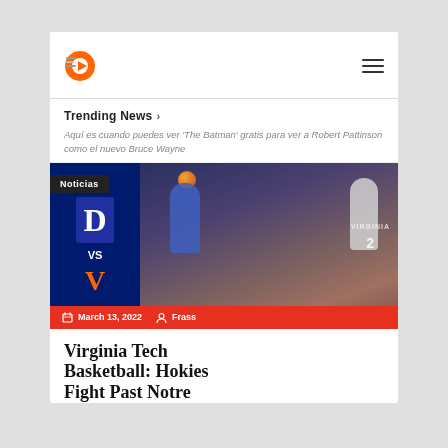Noticias (logo) / hamburger menu
Trending News >
Aquí es cuando puedes ver 'The Batman' gratis para ver a Robert Pattinson como el nuevo Bruce Wayne
[Figure (photo): Basketball game photo showing Duke vs Virginia players, with Noticias badge overlay and date bar showing March 13, 2022 and author Frass]
Virginia Tech Basketball: Hokies Fight Past Notre